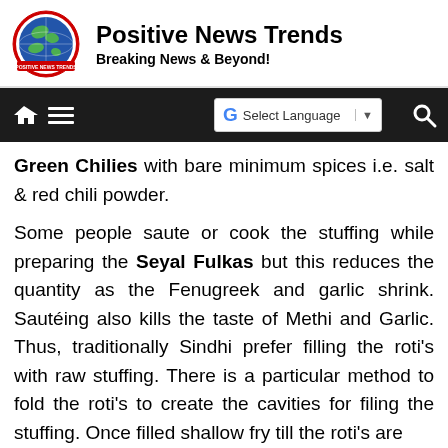Positive News Trends – Breaking News & Beyond!
Green Chilies with bare minimum spices i.e. salt & red chili powder.
Some people saute or cook the stuffing while preparing the Seyal Fulkas but this reduces the quantity as the Fenugreek and garlic shrink. Sautéing also kills the taste of Methi and Garlic. Thus, traditionally Sindhi prefer filling the roti's with raw stuffing. There is a particular method to fold the roti's to create the cavities for filing the stuffing. Once filled shallow fry till the roti's are